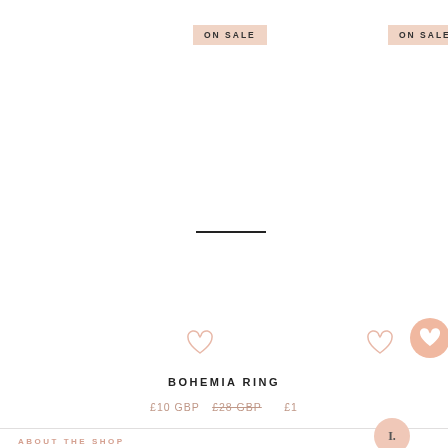[Figure (screenshot): ON SALE badge top-left area of product card]
[Figure (screenshot): ON SALE badge top-right area, partially cut off]
[Figure (illustration): Horizontal divider line in center of product image area]
[Figure (illustration): Heart wishlist icon left]
[Figure (illustration): Heart wishlist icon right, with filled pink circle button]
BOHEMIA RING
£10 GBP  £28 GBP (strikethrough)  £1...
ABOUT THE SHOP
[Figure (illustration): Small pink circle button with letter I.]
The online destination for sterling silver jewellery/